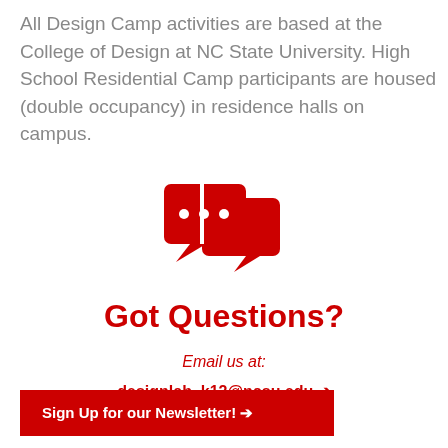All Design Camp activities are based at the College of Design at NC State University. High School Residential Camp participants are housed (double occupancy) in residence halls on campus.
[Figure (illustration): Two red speech/chat bubble icons with ellipsis dots, representing a conversation or Q&A]
Got Questions?
Email us at:
designlab_k12@ncsu.edu →
Sign Up for our Newsletter! →